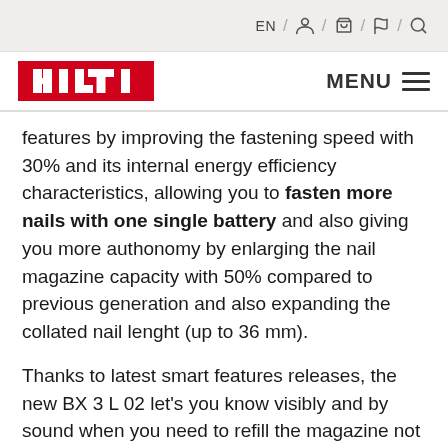EN / [account] / [cart] / [flag] / [search]
HILTI MENU
features by improving the fastening speed with 30% and its internal energy efficiency characteristics, allowing you to fasten more nails with one single battery and also giving you more authonomy by enlarging the nail magazine capacity with 50% compared to previous generation and also expanding the collated nail lenght (up to 36 mm).
Thanks to latest smart features releases, the new BX 3 L 02 let’s you know visibly and by sound when you need to refill the magazine not letting to be surprized if you remain without nails during the fastening of the metal tracks in